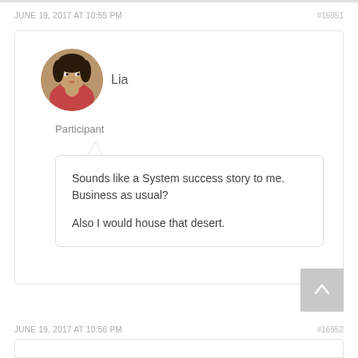JUNE 19, 2017 AT 10:55 PM    #16951
[Figure (photo): Circular avatar photo of a woman named Lia with finger raised to lips]
Lia
Participant
Sounds like a System success story to me. Business as usual?

Also I would house that desert.
JUNE 19, 2017 AT 10:56 PM    #16952